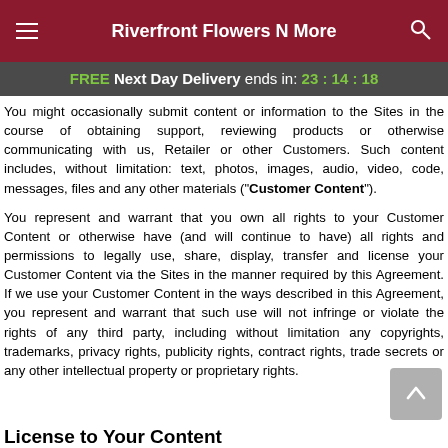Riverfront Flowers N More
FREE Next Day Delivery ends in: 23:14:18
You might occasionally submit content or information to the Sites in the course of obtaining support, reviewing products or otherwise communicating with us, Retailer or other Customers. Such content includes, without limitation: text, photos, images, audio, video, code, messages, files and any other materials (“Customer Content”).
You represent and warrant that you own all rights to your Customer Content or otherwise have (and will continue to have) all rights and permissions to legally use, share, display, transfer and license your Customer Content via the Sites in the manner required by this Agreement. If we use your Customer Content in the ways described in this Agreement, you represent and warrant that such use will not infringe or violate the rights of any third party, including without limitation any copyrights, trademarks, privacy rights, publicity rights, contract rights, trade secrets or any other intellectual property or proprietary rights.
License to Your Content